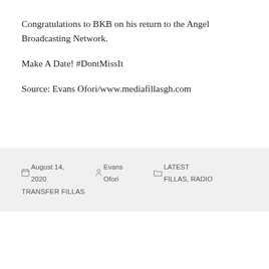Congratulations to BKB on his return to the Angel Broadcasting Network.
Make A Date! #DontMissIt
Source: Evans Ofori/www.mediafillasgh.com
August 14, 2020  Evans Ofori  LATEST FILLAS, RADIO TRANSFER FILLAS